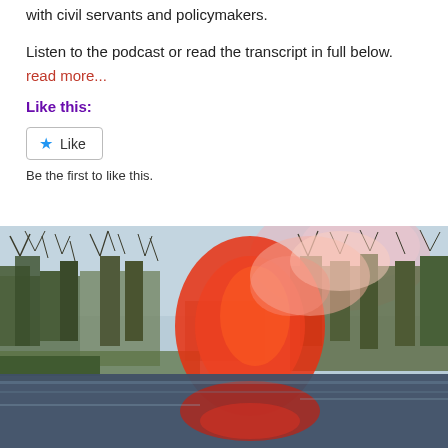with civil servants and policymakers.
Listen to the podcast or read the transcript in full below.
read more...
Like this:
Like
Be the first to like this.
[Figure (photo): Outdoor photograph of bare winter trees reflected in a lake, with a vivid red-orange light burst or flare dominating the center of the image, giving a dramatic surreal effect. Sky is overcast with light blue-grey tones.]